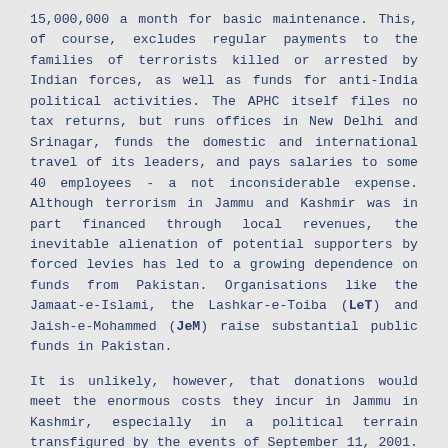15,000,000 a month for basic maintenance. This, of course, excludes regular payments to the families of terrorists killed or arrested by Indian forces, as well as funds for anti-India political activities. The APHC itself files no tax returns, but runs offices in New Delhi and Srinagar, funds the domestic and international travel of its leaders, and pays salaries to some 40 employees - a not inconsiderable expense. Although terrorism in Jammu and Kashmir was in part financed through local revenues, the inevitable alienation of potential supporters by forced levies has led to a growing dependence on funds from Pakistan. Organisations like the Jamaat-e-Islami, the Lashkar-e-Toiba (LeT) and Jaish-e-Mohammed (JeM) raise substantial public funds in Pakistan.
It is unlikely, however, that donations would meet the enormous costs they incur in Jammu in Kashmir, especially in a political terrain transfigured by the events of September 11, 2001. Even though visible public fund raising has stopped in Pakistan since those events, the funding of terrorism, quite obviously, continues. Indian intelligence has identified at least fourteen major funds transfers since December 2001 [Table 1]. The dependence of the APHC on Pakistani cash helps explain the persistent unwillingness of key members to engage in any kind of meaningful dialogue with India. Supposedly 'soft' constituents of the APHC leadership are often punished by having their funds choked off, a strategy that